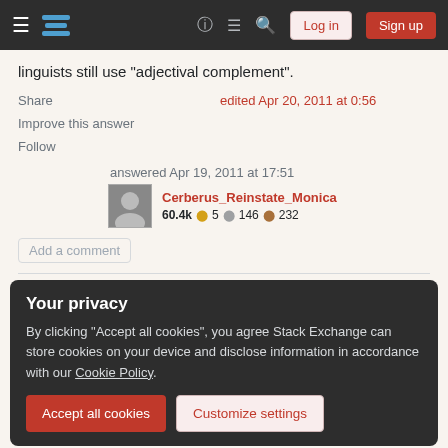Stack Exchange navigation bar with Log in and Sign up buttons
linguists still use "adjectival complement".
Share
edited Apr 20, 2011 at 0:56
Improve this answer
Follow
answered Apr 19, 2011 at 17:51
Cerberus_Reinstate_Monica 60.4k 5 146 232
Add a comment
Your privacy
By clicking "Accept all cookies", you agree Stack Exchange can store cookies on your device and disclose information in accordance with our Cookie Policy.
Accept all cookies
Customize settings
Note that "for anything" is not at the sentential level as